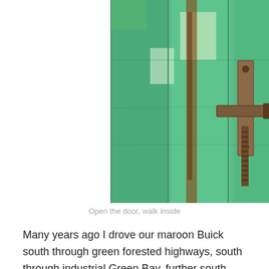[Figure (photo): Close-up photograph of a weathered green wooden door with peeling paint and a rusty metal latch/handle.]
Open the door, walk inside
Many years ago I drove our maroon Buick south through green forested highways, south through industrial Green Bay, further south past the mall in Appleton, Wisconsin.  I became hopelessly entangled in a web of Milwaukee streets and shivered in neighborhoods where teenage boys huddled in groups, eyeing wary passersby.  Later, I lunched by Lake Michigan, sipping tea and munching dainty sandwiches.
Almost ten hours after leaving our Little House in the Big